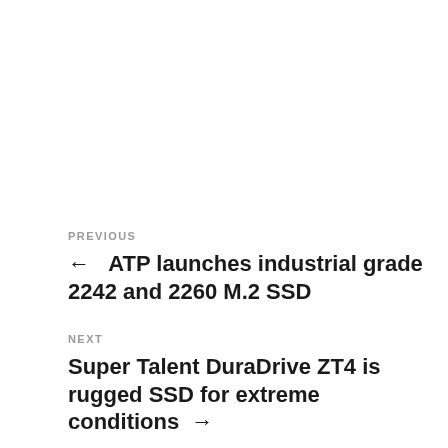PREVIOUS
← ATP launches industrial grade 2242 and 2260 M.2 SSD
NEXT
Super Talent DuraDrive ZT4 is rugged SSD for extreme conditions →